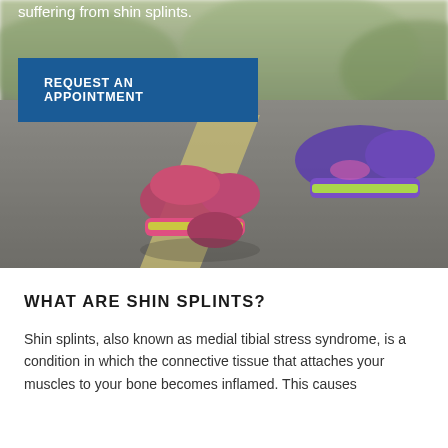[Figure (photo): Close-up photo of a runner's feet wearing colorful athletic shoes (pink, purple, neon green) on a road with a yellow/white line marking visible. Background is blurred with trees. The image shows a medical/health context for shin splints article.]
suffering from shin splints.
REQUEST AN APPOINTMENT
WHAT ARE SHIN SPLINTS?
Shin splints, also known as medial tibial stress syndrome, is a condition in which the connective tissue that attaches your muscles to your bone becomes inflamed. This causes